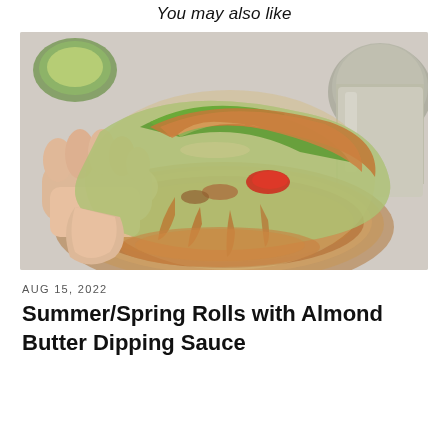You may also like
[Figure (photo): A hand holding a spring roll/summer roll wrapped in rice paper with lettuce and vegetables visible inside, covered with almond butter dipping sauce, with a jar of sauce and avocado in the background.]
AUG 15, 2022
Summer/Spring Rolls with Almond Butter Dipping Sauce